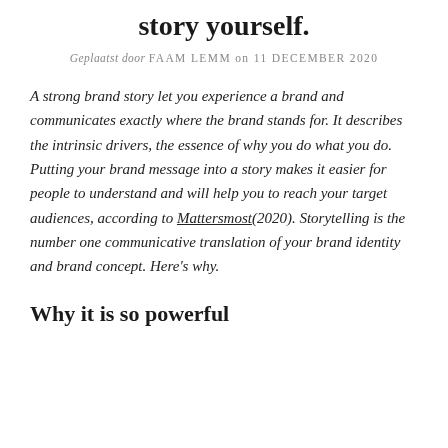story yourself.
Geplaatst door FAAM LEMM on 11 DECEMBER 2020
A strong brand story let you experience a brand and communicates exactly where the brand stands for. It describes the intrinsic drivers, the essence of why you do what you do. Putting your brand message into a story makes it easier for people to understand and will help you to reach your target audiences, according to Mattersmost(2020). Storytelling is the number one communicative translation of your brand identity and brand concept. Here's why.
Why it is so powerful